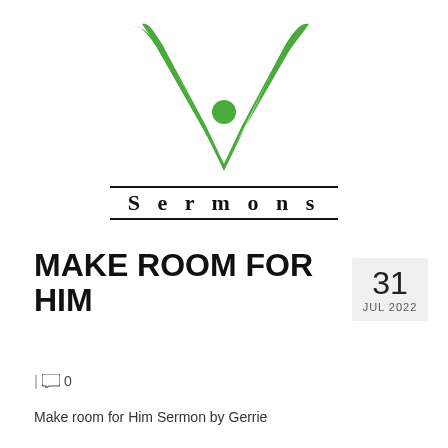[Figure (logo): Green checkmark/person logo with the word Sermons below it in spaced serif font with top and bottom border lines]
MAKE ROOM FOR HIM
31 JUL 2022
| 0
Make room for Him Sermon by Gerrie